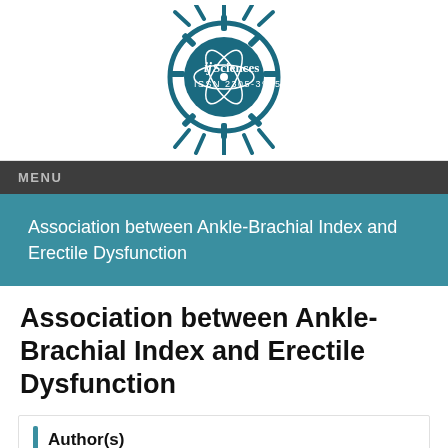[Figure (logo): ijSciences journal logo with gear/atom design and ISSN 2305-3925]
MENU
Association between Ankle-Brachial Index and Erectile Dysfunction
Association between Ankle-Brachial Index and Erectile Dysfunction
Author(s)